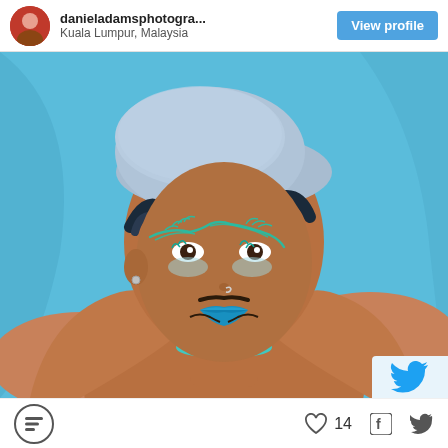danieladamsphotogra... Kuala Lumpur, Malaysia
[Figure (photo): Close-up portrait of a person with blue-teal artistic makeup including leaf designs around the eyes, blue lips, wearing a light blue beret hat and a teal pearl necklace, posed with arms behind head against a blue fabric background.]
14